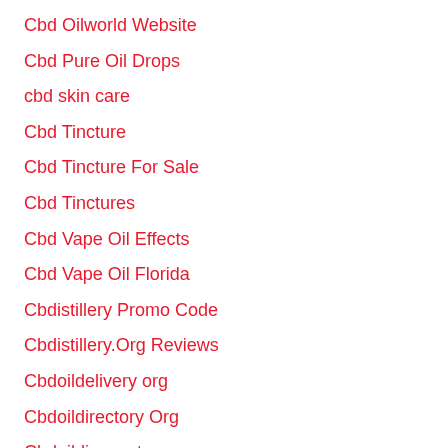Cbd Oilworld Website
Cbd Pure Oil Drops
cbd skin care
Cbd Tincture
Cbd Tincture For Sale
Cbd Tinctures
Cbd Vape Oil Effects
Cbd Vape Oil Florida
Cbdistillery Promo Code
Cbdistillery.Org Reviews
Cbdoildelivery org
Cbdoildirectory Org
Cbdoildiscount
Cbdoilexport